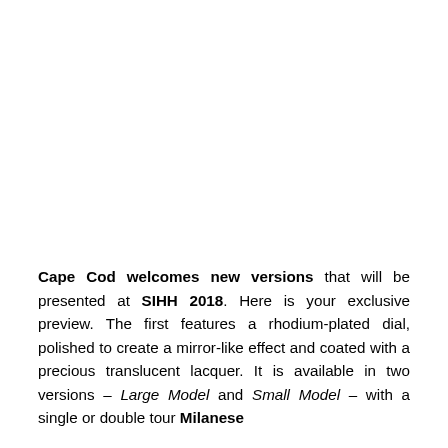Cape Cod welcomes new versions that will be presented at SIHH 2018. Here is your exclusive preview. The first features a rhodium-plated dial, polished to create a mirror-like effect and coated with a precious translucent lacquer. It is available in two versions – Large Model and Small Model – with a single or double tour Milanese